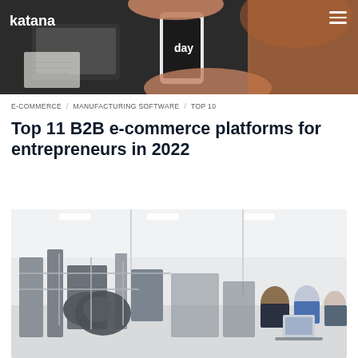katana
[Figure (photo): Person holding a smartphone showing 'day' text, with a laptop and notebook on a dark desk, wearing an orange/red top]
E-COMMERCE   MANUFACTURING SOFTWARE   TOP 10
Top 11 B2B e-commerce platforms for entrepreneurs in 2022
[Figure (photo): Factory/manufacturing floor with industrial machinery, metal parts, and workers at a laptop in a bright white industrial space]